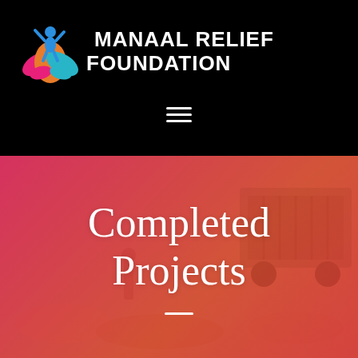[Figure (logo): Manaal Relief Foundation logo: colorful lotus/flower shape with blue, orange, magenta petals and a blue figure on top, on black background]
MANAAL RELIEF FOUNDATION
[Figure (other): Hamburger menu icon (three horizontal white lines) on black background]
[Figure (photo): Hero banner with pink-to-red gradient overlay on a photo of people and a truck with supplies. Text reads 'Completed Projects' with a white underline dash.]
Completed Projects